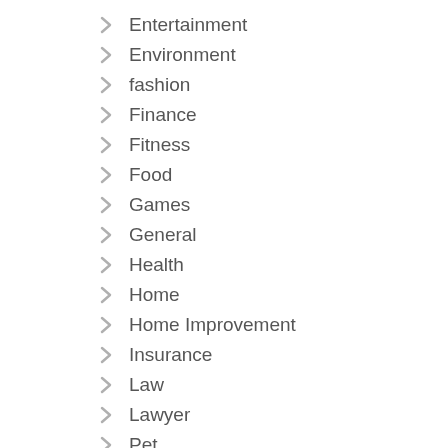Entertainment
Environment
fashion
Finance
Fitness
Food
Games
General
Health
Home
Home Improvement
Insurance
Law
Lawyer
Pet